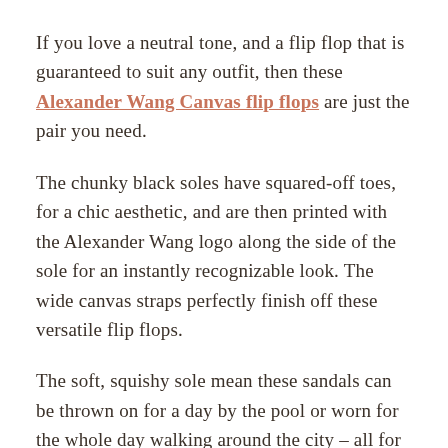If you love a neutral tone, and a flip flop that is guaranteed to suit any outfit, then these Alexander Wang Canvas flip flops are just the pair you need.
The chunky black soles have squared-off toes, for a chic aesthetic, and are then printed with the Alexander Wang logo along the side of the sole for an instantly recognizable look. The wide canvas straps perfectly finish off these versatile flip flops.
The soft, squishy sole mean these sandals can be thrown on for a day by the pool or worn for the whole day walking around the city – all for just $125!